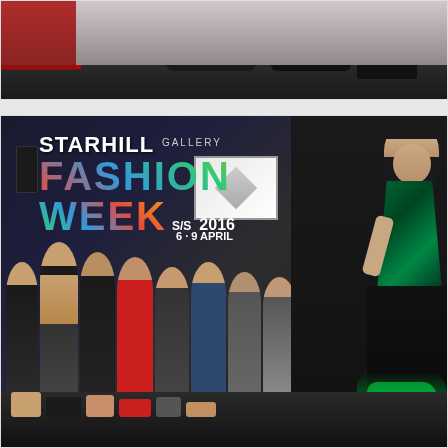[Figure (photo): Partial photograph showing the bottom of a fashion runway show — feet and shoes of models and audience visible, dark runway floor, red dress visible on left]
[Figure (photo): Photograph from Starhill Gallery Fashion Week S/S 2016, 6–9 April. Large sign visible in background on dark stage. Audience seated in rows watching a female model walk the runway in a green sequined bodice and black gown with green ruffled hem. Model walks past seated guests.]